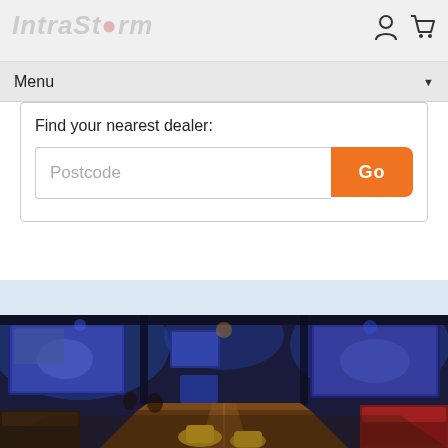Menu navigation header with logo, user icon, and cart icon
Menu ▼
Find your nearest dealer:
Postcode
Go
[Figure (photo): Interior of a sports bar or entertainment venue with large TV screens showing sports broadcasts, blue ambient lighting, wooden bowling lane or bar counter in the foreground, yellow seating stools, and red booth seating on the right side]